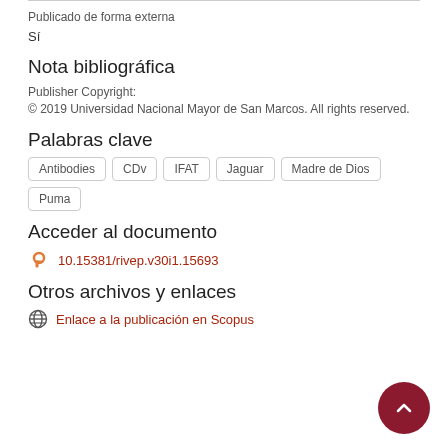Publicado de forma externa
Sí
Nota bibliográfica
Publisher Copyright:
© 2019 Universidad Nacional Mayor de San Marcos. All rights reserved.
Palabras clave
Antibodies
CDv
IFAT
Jaguar
Madre de Dios
Puma
Acceder al documento
10.15381/rivep.v30i1.15693
Otros archivos y enlaces
Enlace a la publicación en Scopus